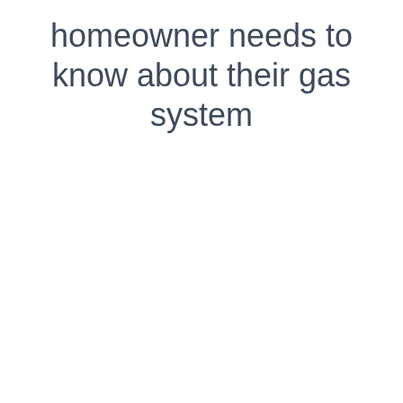homeowner needs to know about their gas system